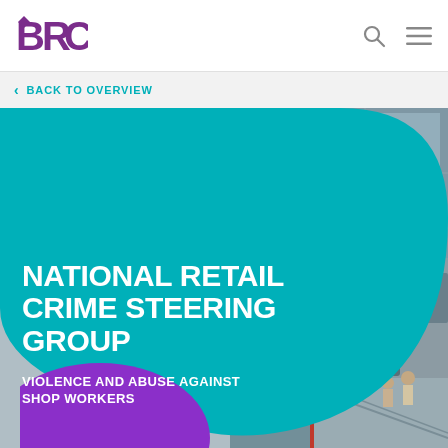BRC
< BACK TO OVERVIEW
[Figure (photo): Shopping mall interior with glass ceiling, escalators, and retail stores in background]
NATIONAL RETAIL CRIME STEERING GROUP
VIOLENCE AND ABUSE AGAINST SHOP WORKERS